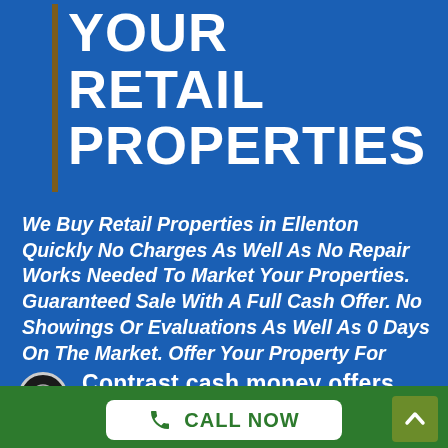YOUR RETAIL PROPERTIES
We Buy Retail Properties in Ellenton Quickly No Charges As Well As No Repair Works Needed To Market Your Properties. Guaranteed Sale With A Full Cash Offer. No Showings Or Evaluations As Well As 0 Days On The Market. Offer Your Property For Cash Phone Call Now! Sell In Any Type Of Problem. Read Our Excellent Evaluations. Obtain Cash Money Prior To Closing.!
Contrast cash money offers from
CALL NOW